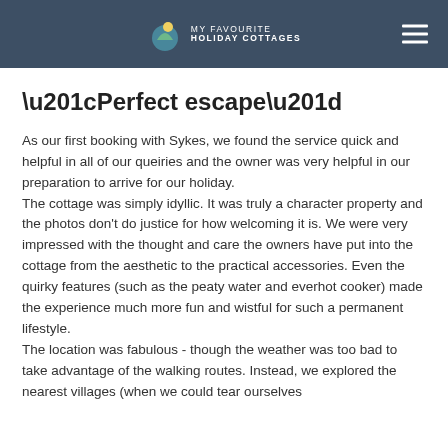MY FAVOURITE HOLIDAY COTTAGES
“Perfect escape”
As our first booking with Sykes, we found the service quick and helpful in all of our queiries and the owner was very helpful in our preparation to arrive for our holiday. The cottage was simply idyllic. It was truly a character property and the photos don’t do justice for how welcoming it is. We were very impressed with the thought and care the owners have put into the cottage from the aesthetic to the practical accessories. Even the quirky features (such as the peaty water and everhot cooker) made the experience much more fun and wistful for such a permanent lifestyle. The location was fabulous - though the weather was too bad to take advantage of the walking routes. Instead, we explored the nearest villages (when we could tear ourselves